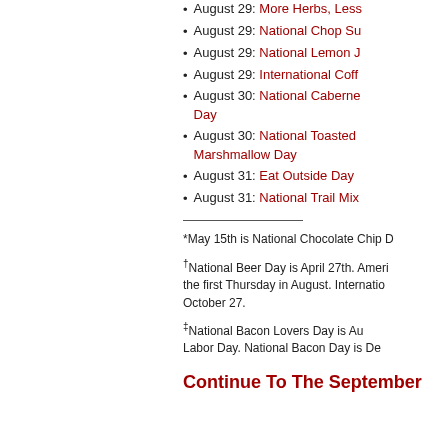August 29: More Herbs, Less Salt Day
August 29: National Chop Suey Day
August 29: National Lemon Juice Day
August 29: International Coffee Day
August 30: National Cabernet Franc Day
August 30: National Toasted Marshmallow Day
August 31: Eat Outside Day
August 31: National Trail Mix Day
*May 15th is National Chocolate Chip D...
†National Beer Day is April 27th. American Craft Beer Week is the first Thursday in August. International Beer Day is October 27.
‡National Bacon Lovers Day is August, Saturday before Labor Day. National Bacon Day is December.
Continue To The September